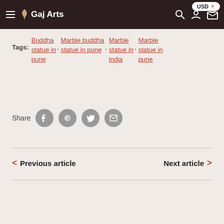Gaj Arts — USD
Tags: Buddha statue in pune , Marble buddha statue in pune , Marble statue in india , Marble statue in pune
Share
Previous article
Next article